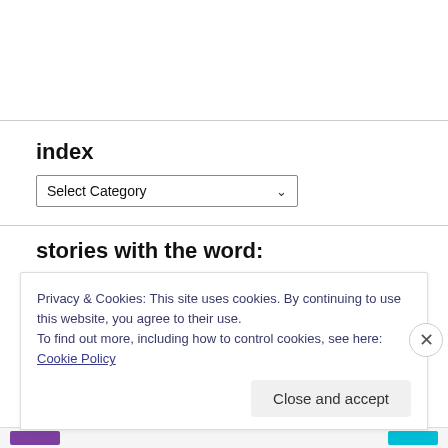index
[Figure (screenshot): Dropdown selector labeled 'Select Category' with a chevron arrow]
stories with the word:
Privacy & Cookies: This site uses cookies. By continuing to use this website, you agree to their use.
To find out more, including how to control cookies, see here: Cookie Policy
Close and accept